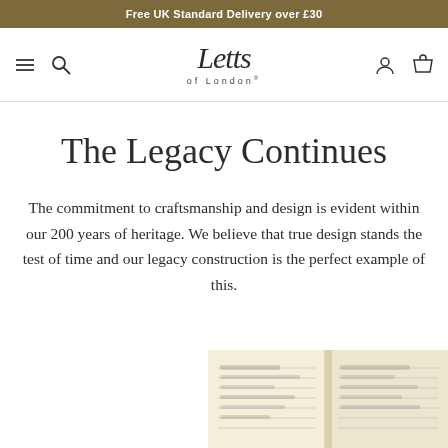Free UK Standard Delivery over £30
[Figure (logo): Letts of London script logo with navigation icons (hamburger menu, search, account, basket)]
The Legacy Continues
The commitment to craftsmanship and design is evident within our 200 years of heritage. We believe that true design stands the test of time and our legacy construction is the perfect example of this.
[Figure (photo): Partial view of an open vintage notebook/diary with handwritten entries on aged paper]